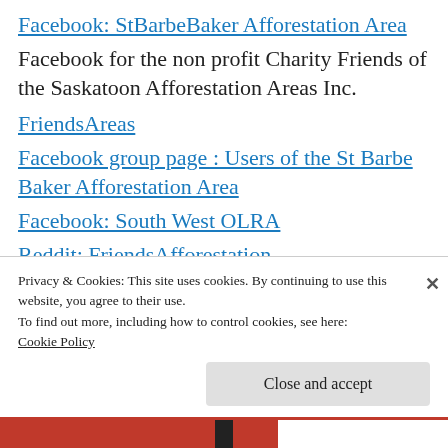Facebook: StBarbeBaker Afforestation Area
Facebook for the non profit Charity Friends of the Saskatoon Afforestation Areas Inc.
FriendsAreas
Facebook group page : Users of the St Barbe Baker Afforestation Area
Facebook: South West OLRA
Reddit: FriendsAfforestation
Twitter: St Barbe Baker Charity
Twitter:FriendsAreas
Mix: friendsareas
Privacy & Cookies: This site uses cookies. By continuing to use this website, you agree to their use.
To find out more, including how to control cookies, see here:
Cookie Policy
Close and accept